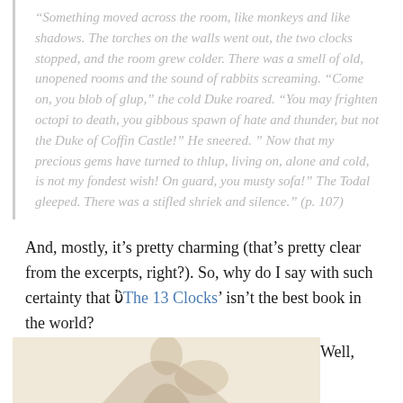“Something moved across the room, like monkeys and like shadows. The torches on the walls went out, the two clocks stopped, and the room grew colder. There was a smell of old, unopened rooms and the sound of rabbits screaming. “Come on, you blob of glup,” the cold Duke roared. “You may frighten octopi to death, you gibbous spawn of hate and thunder, but not the Duke of Coffin Castle!” He sneered. ” Now that my precious gems have turned to thlup, living on, alone and cold, is not my fondest wish! On guard, you musty sofa!” The Todal gleeped. There was a stifled shriek and silence.” (p. 107)
And, mostly, it’s pretty charming (that’s pretty clear from the excerpts, right?). So, why do I say with such certainty that ‘The 13 Clocks’ isn’t the best book in the world?
[Figure (illustration): Partial illustration showing a figure, likely from The 13 Clocks book, with a beige/cream background]
Well,